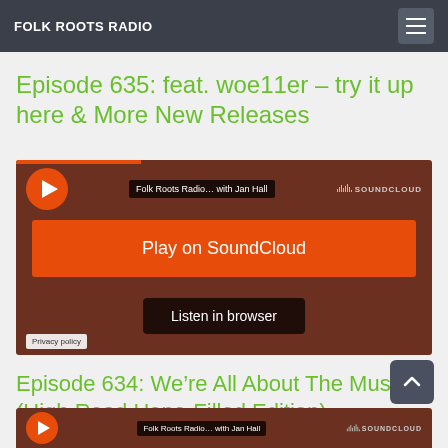FOLK ROOTS RADIO
Episode 635: feat. woe11er – try it up here & More New Releases
[Figure (screenshot): SoundCloud embedded player for Folk Roots Radio with Jan Hall, showing orange Play on SoundCloud button and Listen in browser button on dark brown background]
Episode 634: We’re All About The Music! (High Road Hope-Filled Edition)
[Figure (screenshot): Partial SoundCloud embedded player for Folk Roots Radio with Jan Hall at bottom of page]